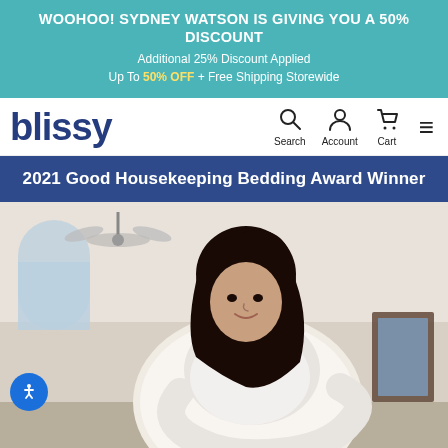WOOHOO! SYDNEY WATSON IS GIVING YOU A 50% DISCOUNT
Additional 25% Discount Applied
Up To 50% OFF + Free Shipping Storewide
[Figure (logo): Blissy logo in dark navy blue bold text]
[Figure (screenshot): Navigation icons: Search, Account, Cart, and hamburger menu]
2021 Good Housekeeping Bedding Award Winner
[Figure (photo): Woman hugging a large white pillow, smiling at the camera, in a bright bedroom setting]